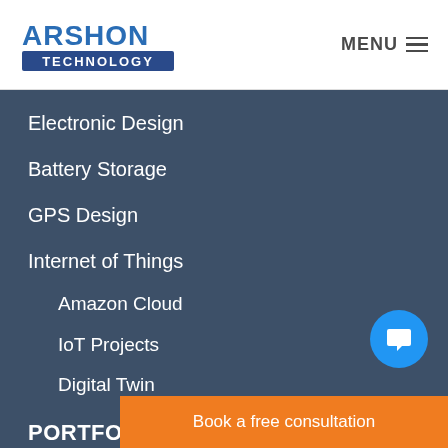ARSHON TECHNOLOGY | MENU
Electronic Design
Battery Storage
GPS Design
Internet of Things
Amazon Cloud
IoT Projects
Digital Twin
PORTFOLIO
Project
Testimonials
Gallery
Book a free consultation